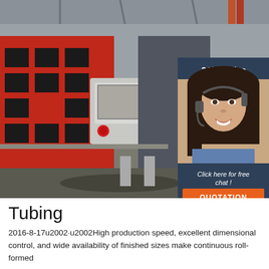[Figure (photo): Industrial CNC machine or tube forming equipment in a factory setting. Large red and grey machinery with a control panel display, metal shavings on the floor. Overlay shows a customer service representative with headset and '24/7 Online' text, 'Click here for free chat!' text, and an orange 'QUOTATION' button on a dark blue background.]
Tubing
2016-8-17u2002·u2002High production speed, excellent dimensional control, and wide availability of finished sizes make continuous roll-formed